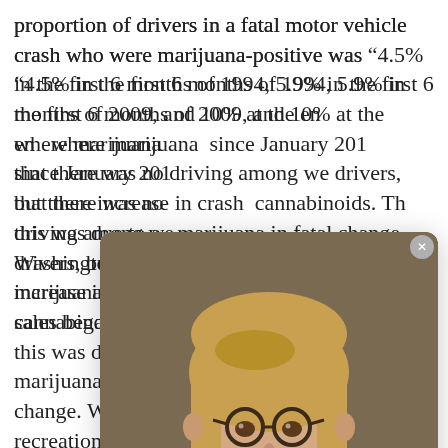proportion of drivers in a fatal motor vehicle crash who were marijuana-positive was “4.5% in the first 6 months of 1994, 5.9% in the first 6 months of 2009, and 10% at the en[d of the study period] where marijuana [has been legal] since January 201[2]. The authors noted that there was no [increase in impaired] driving among we[ll-described] drivers, but there [was a significant] increase in crash f[atalities involving] cannabinoids. Th[e authors suggested] this was due to an [increase in use of] marijuana in fatal [crashes, not a legal] change. Washington voters approved recreational marijuana use in November 2012 and legal sales began in July 2014.
[Figure (photo): Portrait photo of Dr. Louise Stanger, a woman with blonde bob hair and round dark-rimmed glasses, wearing a red blouse, smiling, against a dark olive/brown background. Shown in a chat popup overlay with caption 'Hi, I'm Dr. Louise Stanger.']